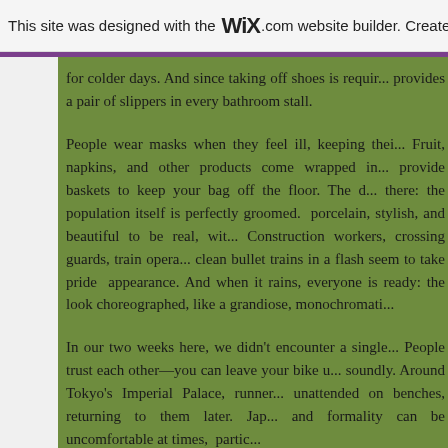This site was designed with the WiX.com website builder. Create yo
for colder days. And since taking off shoes is required, [the establishment] provides a pair of slippers in every bathroom stall.
People wear masks when they feel ill, keeping their germs to themselves. Fruit, napkins, and other products come wrapped in multiple layers. Restaurants provide baskets to keep your bag off the floor. The cleanliness doesn't stop there: the population itself is perfectly groomed. Japanese people look porcelain, stylish, and beautiful to be real, with impeccable fashion. Construction workers, crossing guards, train operators, and attendants who clean bullet trains in a flash seem to take pride in their uniforms and appearance. And when it rains, everyone is ready: the sea of black umbrellas look choreographed, like a grandiose, monochromatic...
In our two weeks here, we didn't encounter a single hostile interaction. People trust each other—you can leave your bike unlocked and sleep soundly. Around Tokyo's Imperial Palace, runners leave their valuables unattended on benches, returning to them later. Japanese politeness and formality can be uncomfortable at times, partic...